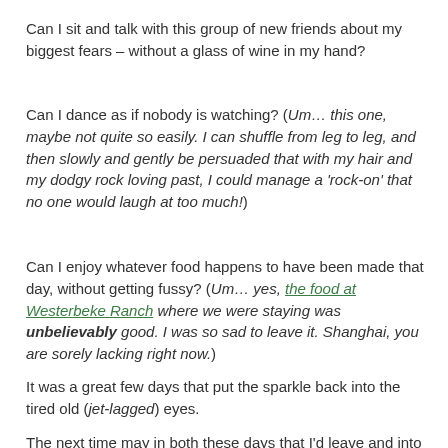Can I sit and talk with this group of new friends about my biggest fears – without a glass of wine in my hand?
Can I dance as if nobody is watching? (Um… this one, maybe not quite so easily. I can shuffle from leg to leg, and then slowly and gently be persuaded that with my hair and my dodgy rock loving past, I could manage a 'rock-on' that no one would laugh at too much!)
Can I enjoy whatever food happens to have been made that day, without getting fussy? (Um… yes, the food at Westerbeke Ranch where we were staying was unbelievably good. I was so sad to leave it. Shanghai, you are sorely lacking right now.)
It was a great few days that put the sparkle back into the tired old (jet-lagged) eyes.
The next time may in both these days that I'd leave and into